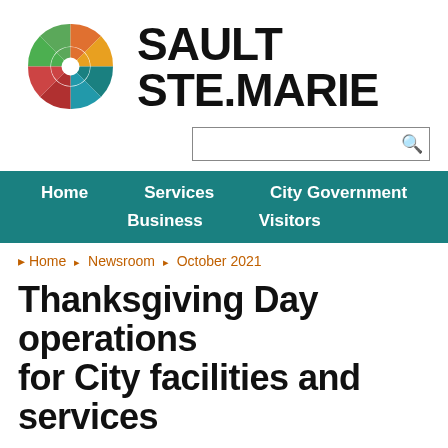[Figure (logo): Sault Ste. Marie city logo: circular design with colored segments in green, orange, teal, and red, beside bold text SAULT STE.MARIE]
[Figure (screenshot): Search bar input field with magnifying glass icon]
[Figure (screenshot): Navigation bar with teal background and menu items: Home, Services, City Government, Business, Visitors]
Home  Newsroom  October 2021
Thanksgiving Day operations for City facilities and services
Thursday, October 7, 2021